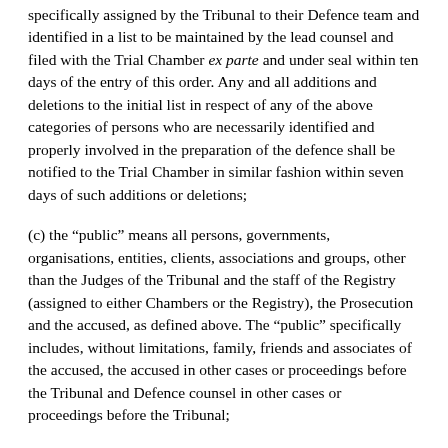specifically assigned by the Tribunal to their Defence team and identified in a list to be maintained by the lead counsel and filed with the Trial Chamber ex parte and under seal within ten days of the entry of this order. Any and all additions and deletions to the initial list in respect of any of the above categories of persons who are necessarily identified and properly involved in the preparation of the defence shall be notified to the Trial Chamber in similar fashion within seven days of such additions or deletions;
(c) the “public” means all persons, governments, organisations, entities, clients, associations and groups, other than the Judges of the Tribunal and the staff of the Registry (assigned to either Chambers or the Registry), the Prosecution and the accused, as defined above. The “public” specifically includes, without limitations, family, friends and associates of the accused, the accused in other cases or proceedings before the Tribunal and Defence counsel in other cases or proceedings before the Tribunal;
(d) the “media” means all video, audio and print media personnel, including journalists, authors, television and radio personnel, their agents and representatives;